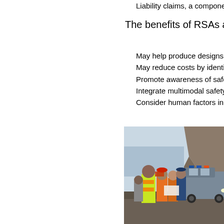Liability claims, a component of b...
The benefits of RSAs are that t...
May help produce designs that re...
May reduce costs by identifying s...
Promote awareness of safe desig...
Integrate multimodal safety conce...
Consider human factors in all fac...
[Figure (photo): Road safety audit team members in high-visibility vests reviewing plans at a coastal highway site, with a police car visible in background]
Road safety audit team reviewing pla... site at a coastal highway (Click For La...